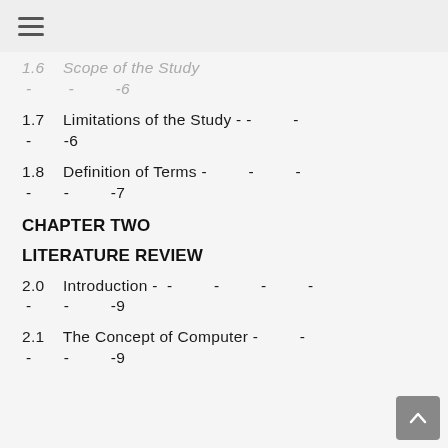≡
1.6  Scope of the Study - - -6
1.7  Limitations of the Study - - - - -6
1.8  Definition of Terms - - - - - - -7
CHAPTER TWO
LITERATURE REVIEW
2.0  Introduction - - - - - - - - -9
2.1  The Concept of Computer - - - -9